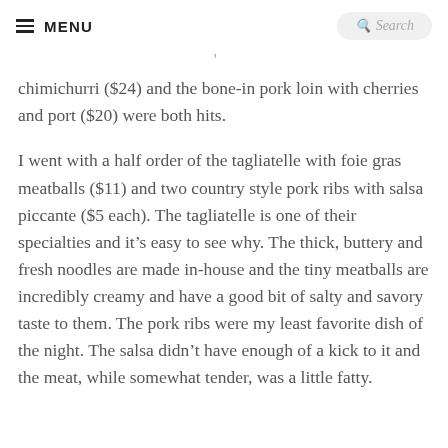≡ MENU   Search
chimichurri ($24) and the bone-in pork loin with cherries and port ($20) were both hits.
I went with a half order of the tagliatelle with foie gras meatballs ($11) and two country style pork ribs with salsa piccante ($5 each). The tagliatelle is one of their specialties and it's easy to see why. The thick, buttery and fresh noodles are made in-house and the tiny meatballs are incredibly creamy and have a good bit of salty and savory taste to them. The pork ribs were my least favorite dish of the night. The salsa didn't have enough of a kick to it and the meat, while somewhat tender, was a little fatty.